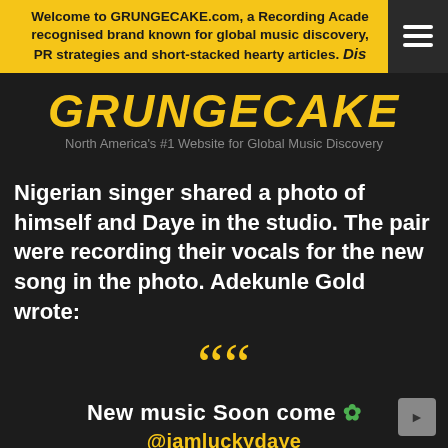Welcome to GRUNGECAKE.com, a Recording Academy recognised brand known for global music discovery, PR strategies and short-stacked hearty articles. Dis
GRUNGECAKE
North America's #1 Website for Global Music Discovery
Nigerian singer shared a photo of himself and Daye in the studio. The pair were recording their vocals for the new song in the photo. Adekunle Gold wrote:
New music Soon come 🍀 @iamluckydaye